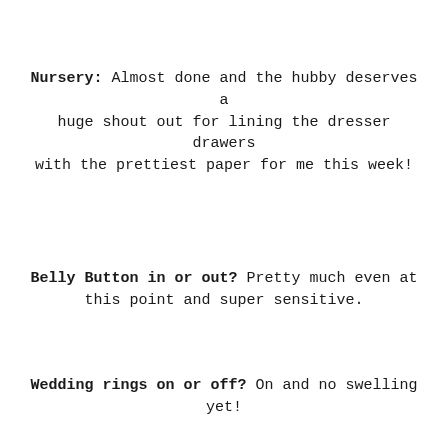Nursery: Almost done and the hubby deserves a huge shout out for lining the dresser drawers with the prettiest paper for me this week!
Belly Button in or out? Pretty much even at this point and super sensitive.
Wedding rings on or off? On and no swelling yet!